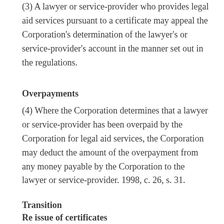(3) A lawyer or service-provider who provides legal aid services pursuant to a certificate may appeal the Corporation's determination of the lawyer's or service-provider's account in the manner set out in the regulations.
Overpayments
(4) Where the Corporation determines that a lawyer or service-provider has been overpaid by the Corporation for legal aid services, the Corporation may deduct the amount of the overpayment from any money payable by the Corporation to the lawyer or service-provider. 1998, c. 26, s. 31.
Transition
Re issue of certificates
32. (1) A certificate that was issued before this Act...